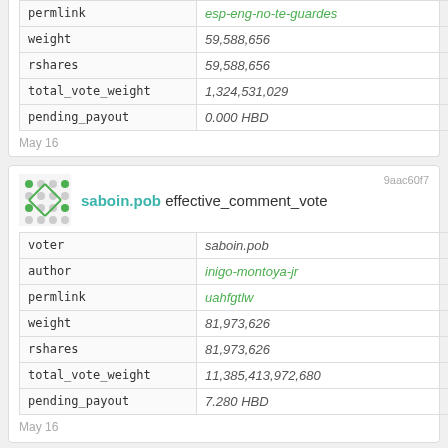| field | value |
| --- | --- |
| permlink | esp-eng-no-te-guardes |
| weight | 59,588,656 |
| rshares | 59,588,656 |
| total_vote_weight | 1,324,531,029 |
| pending_payout | 0.000 HBD |
May 16
saboin.pob effective_comment_vote
| field | value |
| --- | --- |
| voter | saboin.pob |
| author | inigo-montoya-jr |
| permlink | uahfgtlw |
| weight | 81,973,626 |
| rshares | 81,973,626 |
| total_vote_weight | 11,385,413,972,680 |
| pending_payout | 7.280 HBD |
May 16
juliakponsford effective_comment_vote
| field | value |
| --- | --- |
| voter | juliakponsford |
| author | marco77290 |
| permlink | desolated-futuristic-aliens-world |